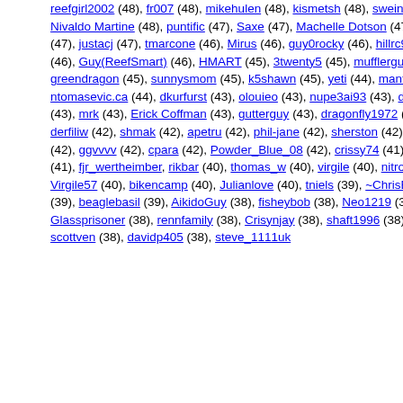reefgirl2002 (48), fr007 (48), mikehulen (48), kismetsh (48), sweintz (48), abigguy67 (48), Nivaldo Martine (48), puntific (47), Saxe (47), Machelle Dotson (47), FshGk2b (47), griffitz62 (47), justacj (47), tmarcone (46), Mirus (46), guy0rocky (46), hillrc91 (46), Tamilla (46), cewolf2 (46), Guy(ReefSmart) (46), HMART (45), 3twenty5 (45), mufflerguy (45), bevis28 (45), greendragon (45), sunnysmom (45), k5shawn (45), yeti (44), mantisbaby (44), Tanyajx5 (44), ntomasevic.ca (44), dkurfurst (43), olouieo (43), nupe3ai93 (43), dragonfly72 (43), e_bisco (43), mrk (43), Erick Coffman (43), gutterguy (43), dragonfly1972 (43), tane (42), youngrs (42), derfiliw (42), shmak (42), apetru (42), phil-jane (42), sherston (42), oread (42), aqua hobbies (42), ggvvvv (42), cpara (42), Powder_Blue_08 (42), crissy74 (41), SnowmanX (41), cjc4167 (41), fjr_wertheimber, rikbar (40), thomas_w (40), virgile (40), nitrogen75 (40), Von Rolen (40), Virgile57 (40), bikencamp (40), Julianlove (40), tniels (39), ~ChrisB~ (39), Ronsld (39), knave (39), beaglebasil (39), AikidoGuy (38), fisheybob (38), Neo1219 (38), jboo70 (38), volitans (38), Glassprisoner (38), rennfamily (38), Crisynjay (38), shaft1996 (38), BradA (38), SoLiD (38), scottven (38), davidp405 (38), steve_1111uk